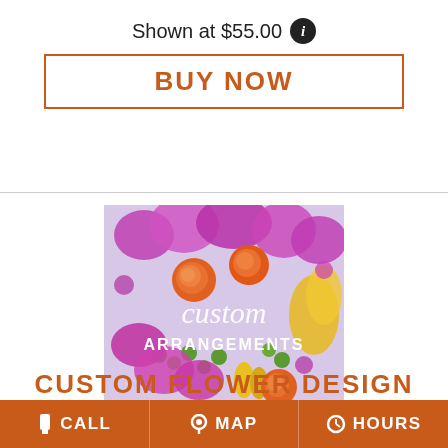Shown at $55.00
BUY NOW
[Figure (photo): Custom flower arrangements image showing colorful orange roses, pink and purple flowers, green berries, with text overlay reading 'custom ARRANGEMENTS']
CUSTOM FLOWER DESIGN
CALL   MAP   HOURS